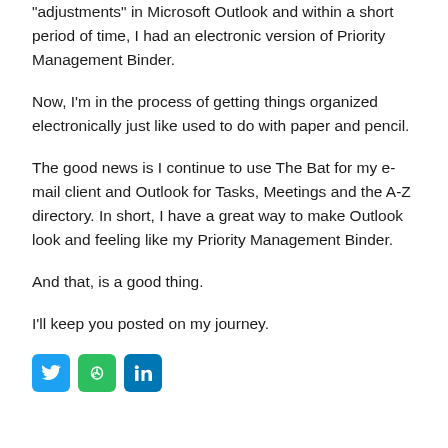“adjustments” in Microsoft Outlook and within a short period of time, I had an electronic version of Priority Management Binder.
Now, I’m in the process of getting things organized electronically just like used to do with paper and pencil.
The good news is I continue to use The Bat for my e-mail client and Outlook for Tasks, Meetings and the A-Z directory. In short, I have a great way to make Outlook look and feeling like my Priority Management Binder.
And that, is a good thing.
I’ll keep you posted on my journey.
[Figure (other): Three social media icon buttons: Twitter (blue bird icon), Evernote (green elephant icon), LinkedIn (blue 'in' icon)]